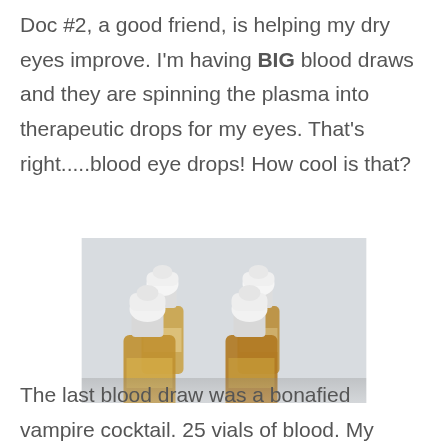Doc #2, a good friend, is helping my dry eyes improve. I'm having BIG blood draws and they are spinning the plasma into therapeutic drops for my eyes. That's right.....blood eye drops! How cool is that?
[Figure (photo): Four small white dropper bottles filled with amber/yellow liquid, arranged in a group on a light surface.]
The last blood draw was a bonafied vampire cocktail. 25 vials of blood. My